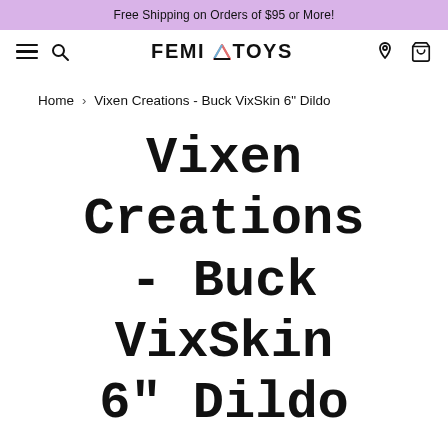Free Shipping on Orders of $95 or More!
FEMI TOYS
Home > Vixen Creations - Buck VixSkin 6" Dildo
Vixen Creations - Buck VixSkin 6" Dildo